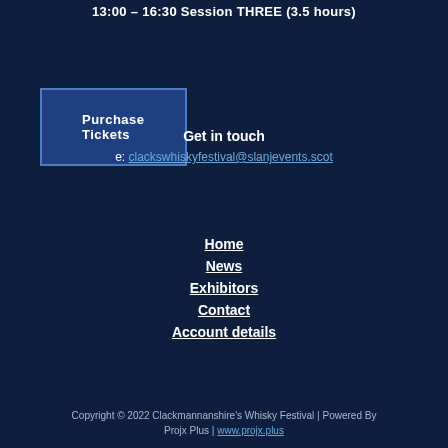13:00 – 16:30 Session THREE (3.5 hours)
Purchase Tickets
Get in touch
e: clackswhiskyfestival@slanjevents.scot
Home
News
Exhibitors
Contact
Account details
Copyright © 2022 Clackmannanshire's Whisky Festival | Powered By Projx Plus | www.projx.plus